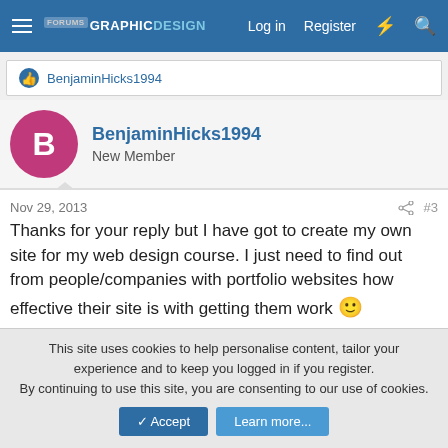Graphic Design Forums — Log in  Register
BenjaminHicks1994
BenjaminHicks1994
New Member
Nov 29, 2013  #3
Thanks for your reply but I have got to create my own site for my web design course. I just need to find out from people/companies with portfolio websites how effective their site is with getting them work 🙂
This site uses cookies to help personalise content, tailor your experience and to keep you logged in if you register.
By continuing to use this site, you are consenting to our use of cookies.
Accept  Learn more...